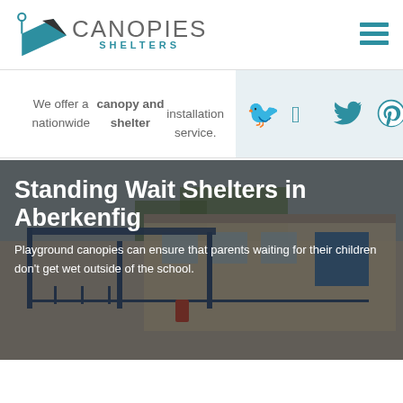[Figure (logo): Canopies Shelters logo with teal geometric bird/arrow shape and company name]
[Figure (infographic): Hamburger menu icon with three teal horizontal bars]
We offer a nationwide canopy and shelter installation service.
[Figure (infographic): Social media icons: Twitter, Pinterest, YouTube, Tumblr in teal on light grey background]
[Figure (photo): Outdoor school playground covered by a dark blue standing wait shelter canopy, with white overlay text about Standing Wait Shelters in Aberkenfig]
Standing Wait Shelters in Aberkenfig
Playground canopies can ensure that parents waiting for their children don't get wet outside of the school.